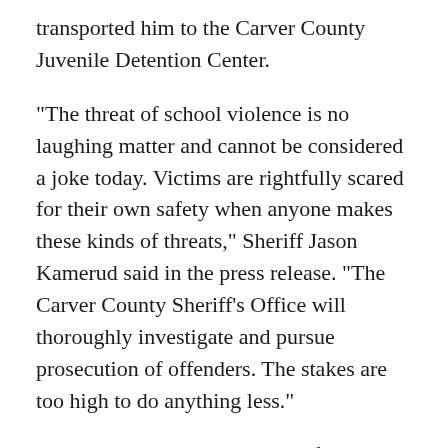transported him to the Carver County Juvenile Detention Center.
"The threat of school violence is no laughing matter and cannot be considered a joke today. Victims are rightfully scared for their own safety when anyone makes these kinds of threats," Sheriff Jason Kamerud said in the press release. "The Carver County Sheriff's Office will thoroughly investigate and pursue prosecution of offenders. The stakes are too high to do anything less."
The boy did not have access to firearms in the house, and no firearms were found on school property, according to the sheriff's office. He will not be allowed to return to school next week, school officials told deputies.